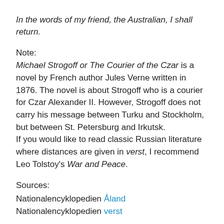In the words of my friend, the Australian, I shall return.
Note:
Michael Strogoff or The Courier of the Czar is a novel by French author Jules Verne written in 1876. The novel is about Strogoff who is a courier for Czar Alexander II. However, Strogoff does not carry his message between Turku and Stockholm, but between St. Petersburg and Irkutsk.
If you would like to read classic Russian literature where distances are given in verst, I recommend Leo Tolstoy's War and Peace.
Sources:
Nationalencyklopedien Åland
Nationalencyklopedien verst